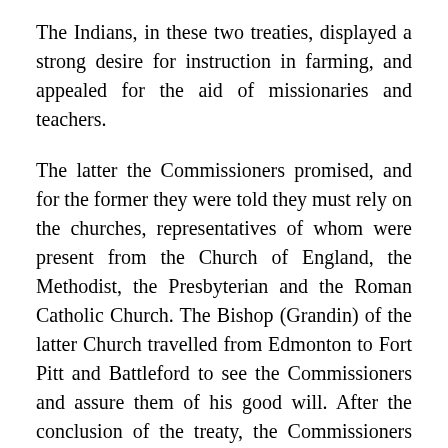The Indians, in these two treaties, displayed a strong desire for instruction in farming, and appealed for the aid of missionaries and teachers.
The latter the Commissioners promised, and for the former they were told they must rely on the churches, representatives of whom were present from the Church of England, the Methodist, the Presbyterian and the Roman Catholic Church. The Bishop (Grandin) of the latter Church travelled from Edmonton to Fort Pitt and Battleford to see the Commissioners and assure them of his good will. After the conclusion of the treaty, the Commissioners commenced their long return